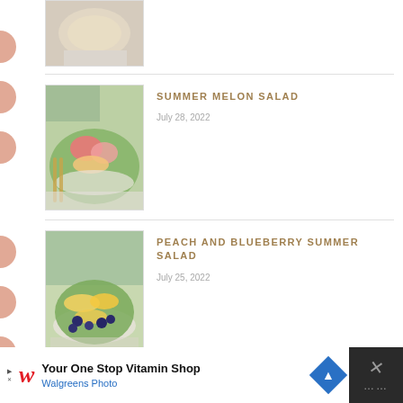[Figure (photo): Top-cropped food photo showing a dish on a plate, partially visible]
SUMMER MELON SALAD
July 28, 2022
[Figure (photo): A bowl of summer melon salad with watermelon pieces, greens, and toppings on a plate with golden utensils]
PEACH AND BLUEBERRY SUMMER SALAD
July 25, 2022
[Figure (photo): A salad with blueberries, yellow peach slices, and greens on a plate]
[Figure (other): Walgreens advertisement banner: Your One Stop Vitamin Shop — Walgreens Photo]